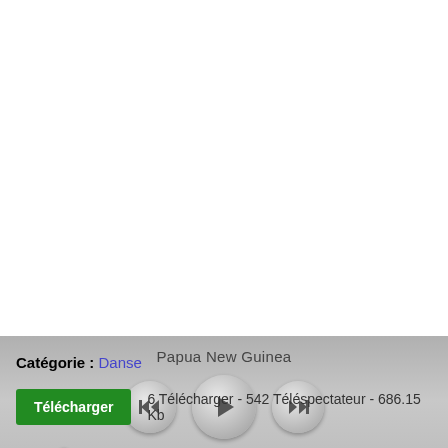[Figure (screenshot): Audio media player widget with track title 'Papua New Guinea', playback controls (rewind, play, fast-forward), a progress bar showing 00:00 of 0:43, with a purple/violet thumb handle at the start of the track.]
Catégorie : Danse
6 Télécharger - 542 Téléspectateur - 686.15 Kb